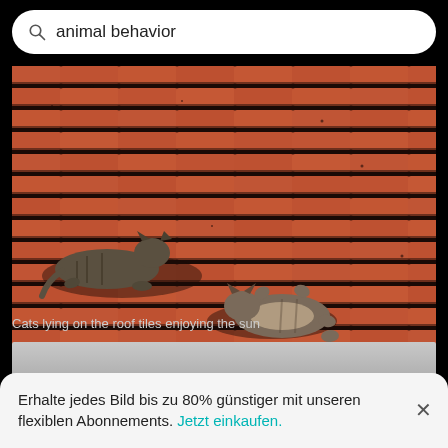animal behavior
[Figure (photo): Two cats lying on red roof tiles enjoying the sun. One tabby cat is resting on the upper-left area, another cat is lying belly-up on the lower-right area.]
Cats lying on the roof tiles enjoying the sun
[Figure (photo): Partial view of a grey overcast sky photo, partially cut off.]
Erhalte jedes Bild bis zu 80% günstiger mit unseren flexiblen Abonnements. Jetzt einkaufen.